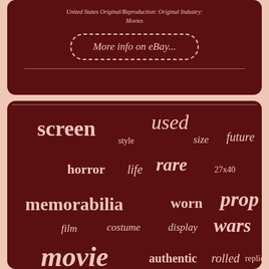United States Original/Reproduction: Original Industry: Movies
[Figure (other): More info on eBay... button with dashed rounded border]
[Figure (infographic): Word cloud with movie/poster related terms: screen, used, style, size, future, horror, life, rare, 27x40, memorabilia, worn, prop, film, costume, display, wars, movie, authentic, rolled, replica, marilyn, monroe, sheet, star, poster, halloween, cinemasterpieces]